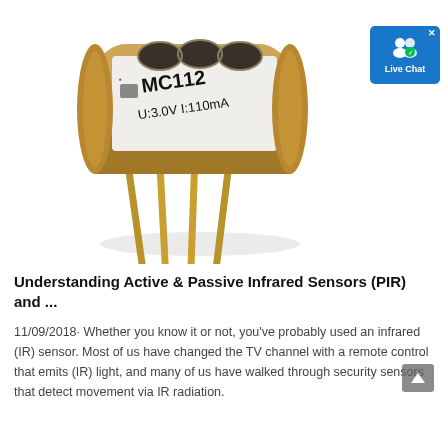[Figure (photo): Close-up photo of a MC112 PIR sensor component with gold pins, labeled U:3.0V I:110mA, with a copper-colored cylindrical housing and white label band. A 'Live Chat' button overlay is visible in the top-right corner.]
Understanding Active & Passive Infrared Sensors (PIR) and ...
11/09/2018· Whether you know it or not, you've probably used an infrared (IR) sensor. Most of us have changed the TV channel with a remote control that emits (IR) light, and many of us have walked through security sensors that detect movement via IR radiation.